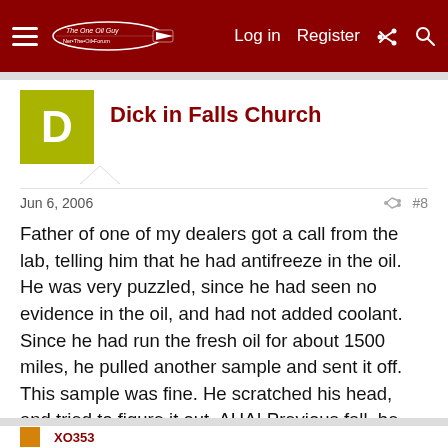Log in  Register
Dick in Falls Church
Jun 6, 2006
Father of one of my dealers got a call from the lab, telling him that he had antifreeze in the oil. He was very puzzled, since he had seen no evidence in the oil, and had not added coolant. Since he had run the fresh oil for about 1500 miles, he pulled another sample and sent it off. This sample was fine. He scratched his head, and tried to figure it out. AHA! Previous fall, he had drained his old antifreeze into a large pan when changing it. He then washed out the pan, and put it in the garage. Sure enough, when he changed the oil, he used the same pan. Then he dipped out a sample. Doesn't take much to contaminate the sample.